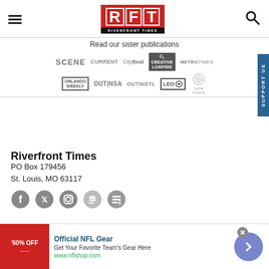[Figure (logo): RFT Riverfront Times logo - red box with white R F T letters, black bar below reading RIVERFRONT TIMES]
Read our sister publications
[Figure (logo): Sister publication logos row 1: SCENE, CURRENT, CityBeat, Creative Loafing, Metro Times]
[Figure (logo): Sister publication logos row 2: Orlando Weekly, OUT|NSA, OUTINSTL, LEO, Local Culture]
Riverfront Times
PO Box 179456
St. Louis, MO 63117
[Figure (infographic): Social media icons: Facebook, Twitter, Instagram, Apple News, Google News]
[Figure (infographic): Advertisement: 60% OFF - Official NFL Gear - Get Your Favorite Team's Gear Here - www.nflshop.com]